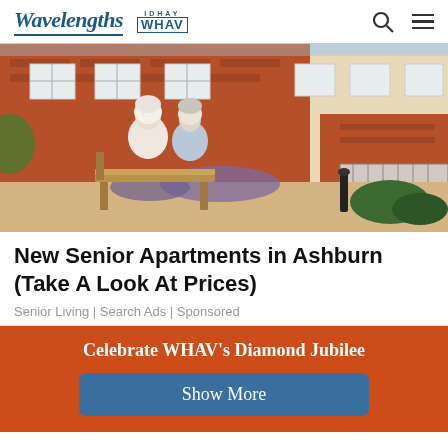Wavelengths | WHAV
[Figure (photo): Two elderly people, a woman and a man, sitting on a wooden bench outside a red brick apartment building with a well-maintained garden and patio area.]
New Senior Apartments in Ashburn (Take A Look At Prices)
Senior Living | Search Ads | Sponsored
Celebrate WHAV's Diamond Jubilee
Show More